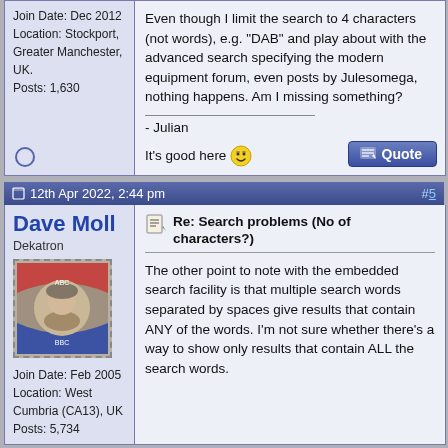Join Date: Dec 2012
Location: Stockport, Greater Manchester, UK.
Posts: 1,630
Even though I limit the search to 4 characters (not words), e.g. "DAB" and play about with the advanced search specifying the modern equipment forum, even posts by Julesomega, nothing happens. Am I missing something?

- Julian

It's good here 😎
12th Apr 2022, 2:44 pm  #5
Dave Moll
Dekatron
Join Date: Feb 2005
Location: West Cumbria (CA13), UK
Posts: 5,734
Re: Search problems (No of characters?)

The other point to note with the embedded search facility is that multiple search words separated by spaces give results that contain ANY of the words. I'm not sure whether there's a way to show only results that contain ALL the search words.